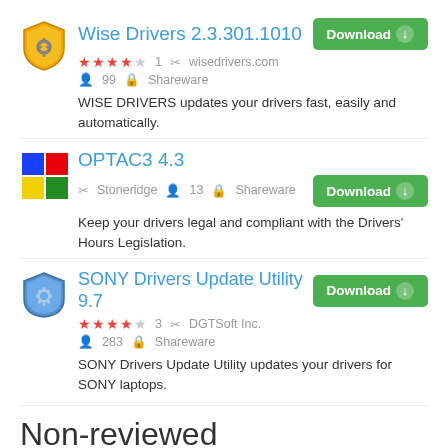[Figure (logo): Wise Drivers shield/gear icon]
Wise Drivers 2.3.301.1010
★★★★☆ 1  🔧 wisedrivers.com  👤 99  🔒 Shareware
WISE DRIVERS updates your drivers fast, easily and automatically.
[Figure (logo): OPTAC3 colored block icon (red, blue, yellow, green quadrants)]
OPTAC3 4.3
🔧 Stoneridge  👤 13  🔒 Shareware
Keep your drivers legal and compliant with the Drivers' Hours Legislation.
[Figure (logo): SONY Drivers Update Utility shield/gear icon]
SONY Drivers Update Utility 9.7
★★★★☆ 3  🔧 DGTSoft Inc.  👤 283  🔒 Shareware
SONY Drivers Update Utility updates your drivers for SONY laptops.
Non-reviewed